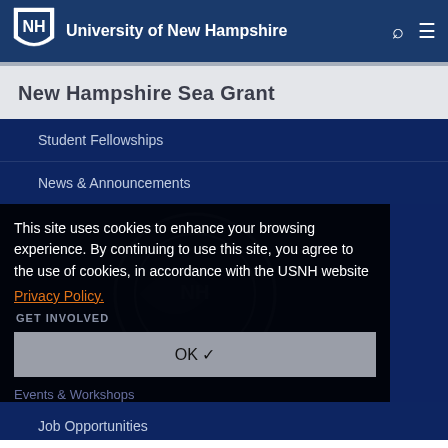University of New Hampshire
New Hampshire Sea Grant
Student Fellowships
News & Announcements
[Figure (screenshot): Cookie consent overlay on UNH New Hampshire Sea Grant website with dark semi-transparent background and NH Sea Grant logo watermark visible behind]
This site uses cookies to enhance your browsing experience. By continuing to use this site, you agree to the use of cookies, in accordance with the USNH website Privacy Policy.
GET INVOLVED
OK ✓
Events & Workshops
Job Opportunities